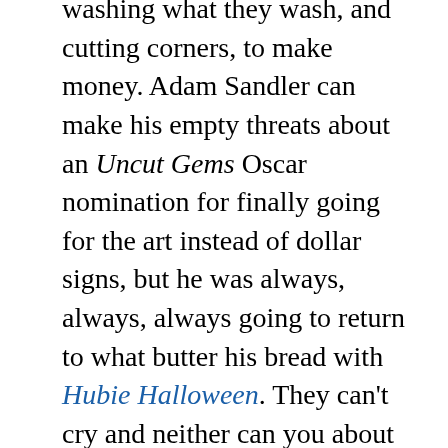Disney does what they do, stomping with hubris, washing what they wash, and cutting corners, to make money. Adam Sandler can make his empty threats about an Uncut Gems Oscar nomination for finally going for the art instead of dollar signs, but he was always, always, always going to return to what butter his bread with Hubie Halloween. They can't cry and neither can you about such #firstworldproblems. If you don't like it, good, don't spend your money on said thing, turn the channel, or scroll on by, but be ready for Lesson #2 and Lesson #3 once you open your mouth to piss and moan again.
LESSON #6: IT'S PERFECTLY OK, IN FACT RECOMMENDED OF YOU, TO GROW, EVOLVE, AND CHANGE
Now, I rant all of that to say this. Grow with your art and entertainment. Open your mind to new things and other ways of thinking.